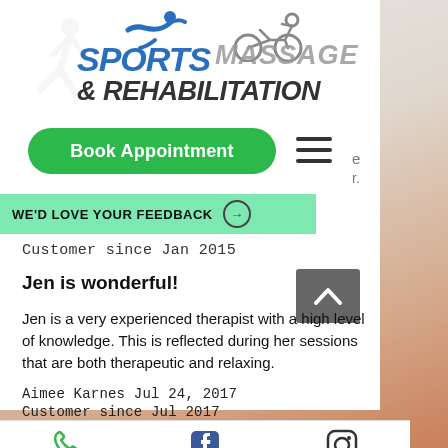[Figure (logo): Sports Massage & Rehabilitation logo with swimmer and cyclist icons, blue SPORTS text, grey MASSAGE text, dark grey & REHABILITATION text, faded runner silhouette in background]
Book Appointment
WE'D LOVE YOUR FEEDBACK →
Customer since Jan 2015
Jen is wonderful!
Jen is a very experienced therapist with a high level of knowledge. This is reflected during her sessions that are both therapeutic and relaxing.
Aimee Karnes Jul 24, 2017
Customer since Jul 2017
[Figure (other): Footer with phone, Facebook, and Instagram icons]